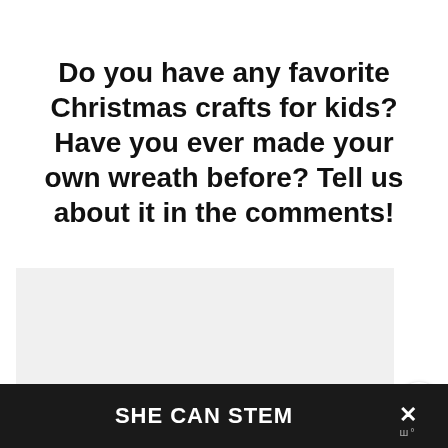Do you have any favorite Christmas crafts for kids? Have you ever made your own wreath before? Tell us about it in the comments!
[Figure (other): Light gray placeholder box (advertisement or image area)]
[Figure (other): Share button icon (orange share icon with plus sign) in white circle]
SHE CAN STEM